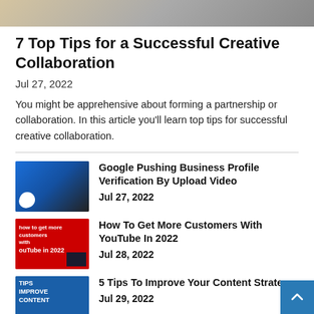[Figure (photo): Top portion of a hero image showing people collaborating, partially cropped]
7 Top Tips for a Successful Creative Collaboration
Jul 27, 2022
You might be apprehensive about forming a partnership or collaboration. In this article you'll learn top tips for successful creative collaboration.
[Figure (photo): Thumbnail image with blue background showing people working, Google logo visible]
Google Pushing Business Profile Verification By Upload Video
Jul 27, 2022
[Figure (photo): Red YouTube-themed thumbnail with text 'how to get more customers with YouTube in 2022']
How To Get More Customers With YouTube In 2022
Jul 28, 2022
[Figure (photo): Blue thumbnail with text 'TIPS IMPROVE CONTENT']
5 Tips To Improve Your Content Strate
Jul 29, 2022